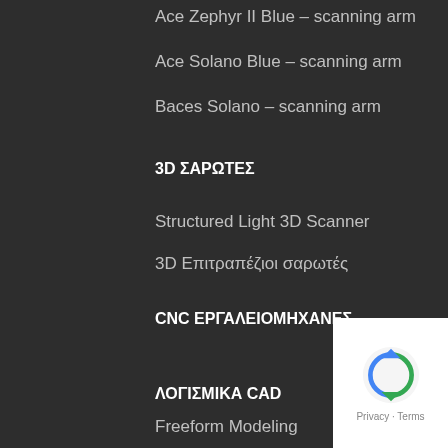Ace Zephyr II Blue – scanning arm
Ace Solano Blue – scanning arm
Baces Solano – scanning arm
3D ΣΑΡΩΤΕΣ
Structured Light 3D Scanner
3D Επιτραπέζιοι σαρωτές
CNC ΕΡΓΑΛΕΙΟΜΗΧΑΝΕΣ
ΛΟΓΙΣΜΙΚΑ CAD
Freeform Modeling
Geomagic Sculpt
PowerSHAPE